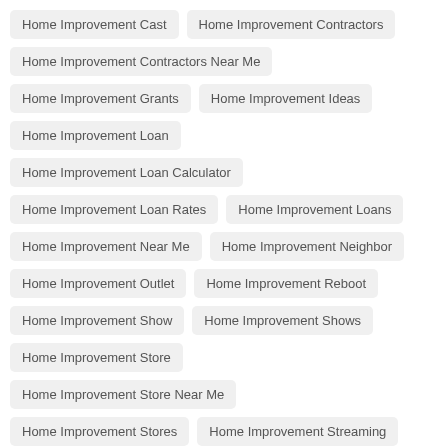Home Improvement Cast
Home Improvement Contractors
Home Improvement Contractors Near Me
Home Improvement Grants
Home Improvement Ideas
Home Improvement Loan
Home Improvement Loan Calculator
Home Improvement Loan Rates
Home Improvement Loans
Home Improvement Near Me
Home Improvement Neighbor
Home Improvement Outlet
Home Improvement Reboot
Home Improvement Show
Home Improvement Shows
Home Improvement Store
Home Improvement Store Near Me
Home Improvement Stores
Home Improvement Streaming
Home Improvement Tax Deduction
Home Improvement Tv Show